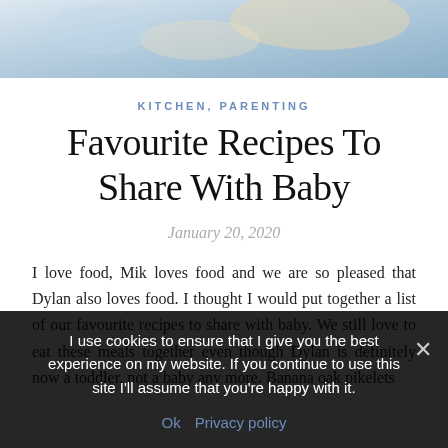[Figure (photo): Partial photo of food/cooking scene with blue and cream tones, cropped at top of page]
KITCHEN, PARENTING
Favourite Recipes To Share With Baby
January 20, 2020
I love food, Mik loves food and we are so pleased that Dylan also loves food. I thought I would put together a list of our favourite recipes to share with baby. We still love to eat these meals together even though Dylan is definitely now a toddler, not a baby any more. Banana oak pikelets
I use cookies to ensure that I give you the best experience on my website. If you continue to use this site I'll assume that you're happy with it.
Ok  Privacy policy